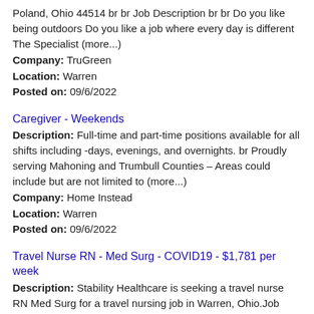Poland, Ohio 44514 br br Job Description br br Do you like being outdoors Do you like a job where every day is different The Specialist (more...)
Company: TruGreen
Location: Warren
Posted on: 09/6/2022
Caregiver - Weekends
Description: Full-time and part-time positions available for all shifts including -days, evenings, and overnights. br Proudly serving Mahoning and Trumbull Counties – Areas could include but are not limited to (more...)
Company: Home Instead
Location: Warren
Posted on: 09/6/2022
Travel Nurse RN - Med Surg - COVID19 - $1,781 per week
Description: Stability Healthcare is seeking a travel nurse RN Med Surg for a travel nursing job in Warren, Ohio.Job Description Requirements ul li Specialty: Med Surg li Discipline: RN li Start Date: 09/26/2022 (more...)
Company: Stability Healthcare
Location: Warren
Posted on: 09/6/2022